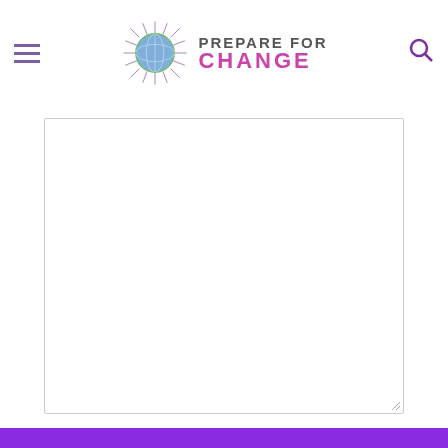Prepare For Change — navigation header with hamburger menu, logo and search icon
[Figure (screenshot): Large empty textarea input box with resize handle in bottom-right corner]
Piškotki
Za pravilno delovanje tega spletišča se včasih na vašo napravo naložijo majhne podatkovne datoteke, imenovane piškotki. To se zgodi na večini večjih spletišč.
✓ Accept
Change Settings ⚙